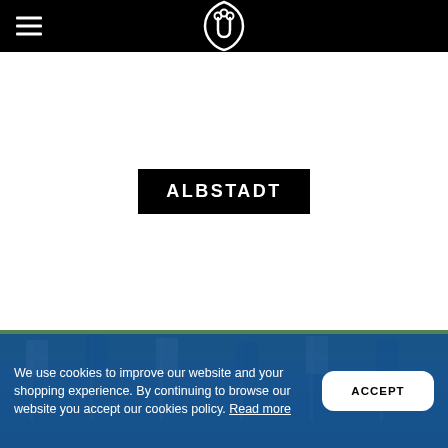Navigation bar with hamburger menu and logo
ALBSTADT
[Figure (photo): Outdoor photo showing flags and banners at what appears to be a sporting event venue, with trees in the background]
We use cookies to improve our website and your shopping experience. By continuing to browse our website you accept our cookies policy. Read more